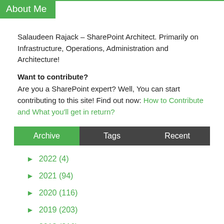About Me
Salaudeen Rajack – SharePoint Architect. Primarily on Infrastructure, Operations, Administration and Architecture!
Want to contribute?
Are you a SharePoint expert? Well, You can start contributing to this site! Find out now: How to Contribute and What you'll get in return?
Archive | Tags | Recent
► 2022 (4)
► 2021 (94)
► 2020 (116)
► 2019 (203)
► 2018 (216)